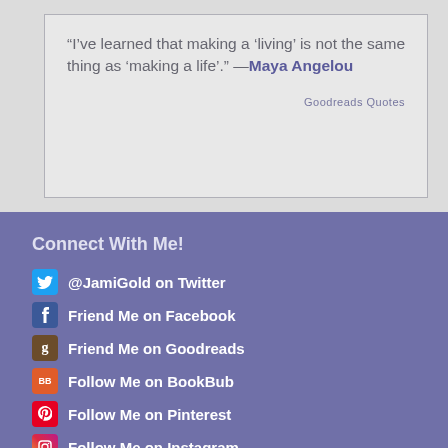“I’ve learned that making a ‘living’ is not the same thing as ‘making a life’.” —Maya Angelou
Goodreads Quotes
Connect With Me!
@JamiGold on Twitter
Friend Me on Facebook
Friend Me on Goodreads
Follow Me on BookBub
Follow Me on Pinterest
Follow Me on Instagram